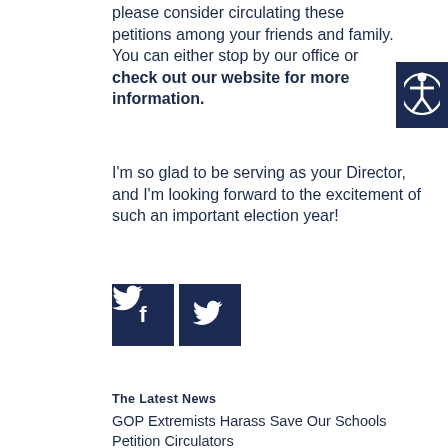please consider circulating these petitions among your friends and family. You can either stop by our office or check out our website for more information.
[Figure (illustration): Accessibility icon — white figure with arms and legs on dark navy blue square background]
I'm so glad to be serving as your Director, and I'm looking forward to the excitement of such an important election year!
[Figure (logo): Facebook and Twitter social media icon buttons — white icons on dark navy blue square backgrounds]
The Latest News
GOP Extremists Harass Save Our Schools Petition Circulators
Notary Hours Update
Notes from the Chair | August 4, 2022